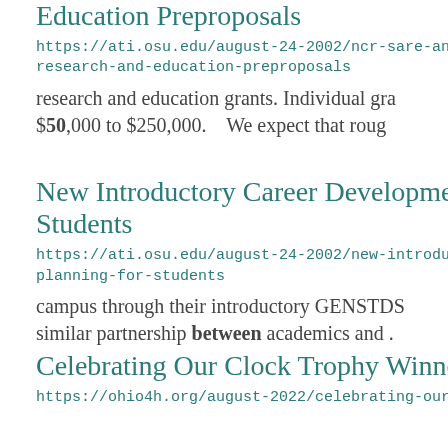Education Preproposals
https://ati.osu.edu/august-24-2002/ncr-sare-annou research-and-education-preproposals
research and education grants. Individual gra $50,000 to $250,000.    We expect that rou
New Introductory Career Developme Students
https://ati.osu.edu/august-24-2002/new-introductor planning-for-students
campus through their introductory GENSTDS similar partnership between academics and .
Celebrating Our Clock Trophy Winne
https://ohio4h.org/august-2022/celebrating-our-cloc